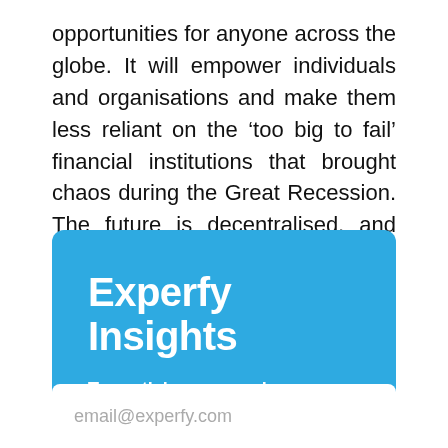opportunities for anyone across the globe. It will empower individuals and organisations and make them less reliant on the ‘too big to fail’ financial institutions that brought chaos during the Great Recession. The future is decentralised, and that certainly applies to the financial sector.
Experfy Insights
Top articles, research, podcasts, webinars and more delivered to you monthly.